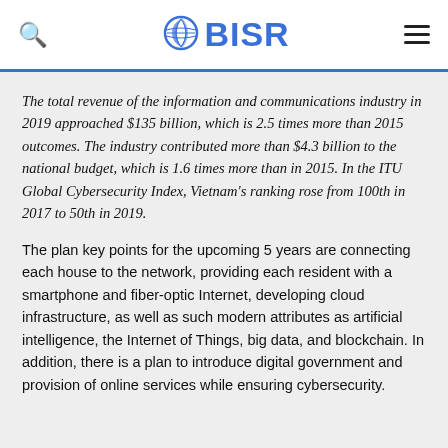BISR
The total revenue of the information and communications industry in 2019 approached $135 billion, which is 2.5 times more than 2015 outcomes. The industry contributed more than $4.3 billion to the national budget, which is 1.6 times more than in 2015. In the ITU Global Cybersecurity Index, Vietnam's ranking rose from 100th in 2017 to 50th in 2019.
The plan key points for the upcoming 5 years are connecting each house to the network, providing each resident with a smartphone and fiber-optic Internet, developing cloud infrastructure, as well as such modern attributes as artificial intelligence, the Internet of Things, big data, and blockchain. In addition, there is a plan to introduce digital government and provision of online services while ensuring cybersecurity.